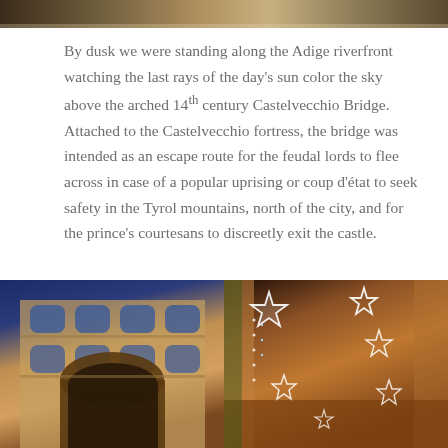[Figure (photo): Top portion of a photo showing Adige riverfront scene with arched bridge, cropped at top of page]
By dusk we were standing along the Adige riverfront watching the last rays of the day's sun color the sky above the arched 14th century Castelvecchio Bridge.  Attached to the Castelvecchio fortress, the bridge was intended as an escape route for the feudal lords to flee across in case of a popular uprising or coup d'état to seek safety in the Tyrol mountains, north of the city, and for the prince's courtesans to discreetly exit the castle.
[Figure (photo): Left photo: Ancient Roman gate (Porta Borsari) in Verona at dusk with blue sky and warm stone façade]
[Figure (photo): Right photo: Christmas lights shaped as stars hanging over a narrow Italian street with warm evening glow and a Christmas tree]